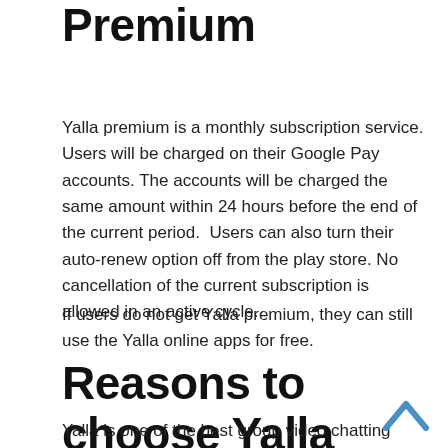Premium
Yalla premium is a monthly subscription service. Users will be charged on their Google Pay accounts. The accounts will be charged the same amount within 24 hours before the end of the current period.  Users can also turn their auto-renew option off from the play store. No cancellation of the current subscription is allowed in an active cycle.
If users do not get Yalla premium, they can still use the Yalla online apps for free.
Reasons to choose Yalla
Yalla is one of the best group video chatting apps. It has